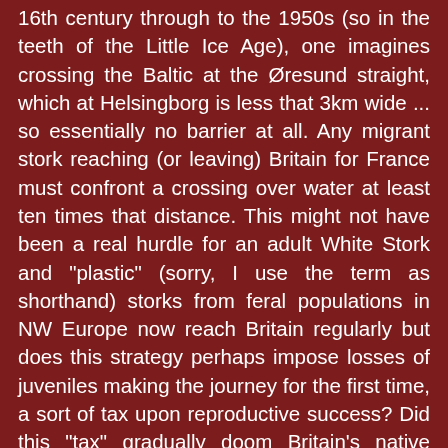16th century through to the 1950s (so in the teeth of the Little Ice Age), one imagines crossing the Baltic at the Øresund straight, which at Helsingborg is less that 3km wide ... so essentially no barrier at all. Any migrant stork reaching (or leaving) Britain for France must confront a crossing over water at least ten times that distance. This might not have been a real hurdle for an adult White Stork and "plastic" (sorry, I use the term as shorthand) storks from feral populations in NW Europe now reach Britain regularly but does this strategy perhaps impose losses of juveniles making the journey for the first time, a sort of tax upon reproductive success? Did this "tax" gradually doom Britain's native stork population in the early historic period, and, more importantly, does this biogeographical barrier represent an unresolvable barrier to the recreation of a truly wild, migrant White Stork population in Britain? White Storks CAN and DO cross much larger water bodies (Swedish birds have been this way – the 300km) but is frustration